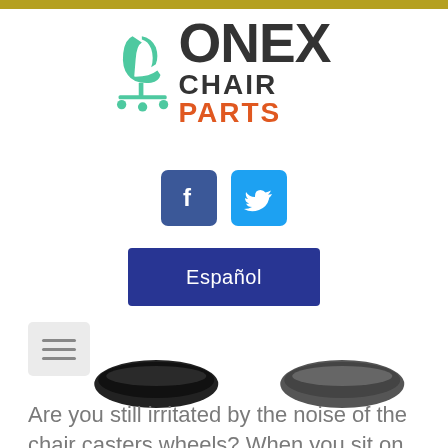[Figure (logo): Onex Chair Parts logo with green office chair icon and bold text 'ONEX' in dark gray, 'CHAIR' in dark gray and 'PARTS' in orange]
[Figure (illustration): Facebook icon (white f on dark blue square) and Twitter icon (white bird on light blue square) social media buttons]
Español
[Figure (illustration): Hamburger menu icon: three horizontal lines on a light gray rounded square button]
[Figure (photo): Two dark chair caster wheels viewed from above, partially cropped]
Are you still irritated by the noise of the chair casters wheels? When you sit on an office chair